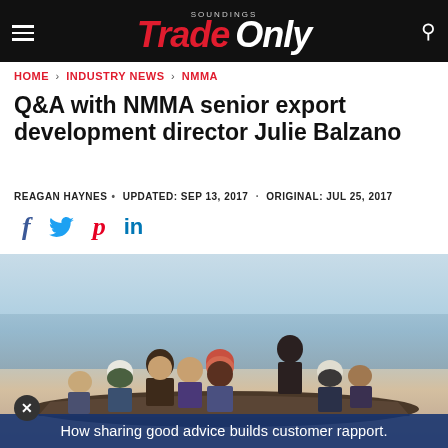SOUNDINGS Trade Only
HOME > INDUSTRY NEWS > NMMA
Q&A with NMMA senior export development director Julie Balzano
REAGAN HAYNES · UPDATED: SEP 13, 2017 · ORIGINAL: JUL 25, 2017
[Figure (illustration): Social media share icons: Facebook (f), Twitter (bird), Pinterest (p), LinkedIn (in)]
[Figure (photo): Group of people on a boat on open water, smiling at camera, wearing life jackets and caps. One person sits elevated at the back.]
How sharing good advice builds customer rapport.